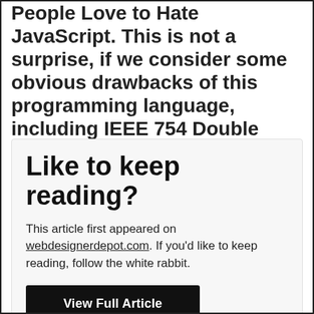People Love to Hate JavaScript. This is not a surprise, if we consider some obvious drawbacks of this programming language, including IEEE 754 Double Precision, the fact that a number of functions and methods that are millable to be...
Like to keep reading?
This article first appeared on webdesignerdepot.com. If you'd like to keep reading, follow the white rabbit.
View Full Article